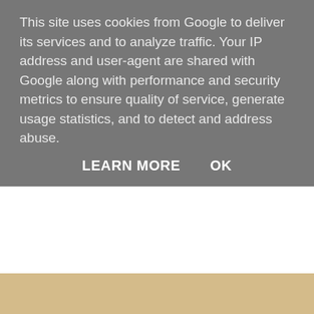This site uses cookies from Google to deliver its services and to analyze traffic. Your IP address and user-agent are shared with Google along with performance and security metrics to ensure quality of service, generate usage statistics, and to detect and address abuse.
LEARN MORE    OK
[Figure (photo): Close-up photo of a crepe or thin pancake folded on a white plate, topped with chocolate spread (Nutella). The crepe is golden-brown and the chocolate filling is visible on top.]
Couldn't complain about the breakfast buffet either. Hello uni pancakes.